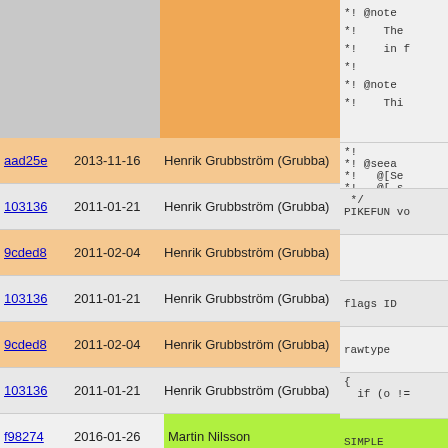| hash | date | author | code |
| --- | --- | --- | --- |
|  |  |  | *! @note
*!     The
*!     in f
*!
*! @note
*!     Thi |
| aad25e | 2013-11-16 | Henrik Grubbström (Grubba) | *!
*! @seea
*!   @[Se
*!   @[_s |
| 103136 | 2011-01-21 | Henrik Grubbström (Grubba) | */
PIKEFUN vo |
| 9cded8 | 2011-02-04 | Henrik Grubbström (Grubba) |  |
| 103136 | 2011-01-21 | Henrik Grubbström (Grubba) | flags ID |
| 9cded8 | 2011-02-04 | Henrik Grubbström (Grubba) | rawtype |
| 103136 | 2011-01-21 | Henrik Grubbström (Grubba) | {
  if (o != |
| f98274 | 2016-01-26 | Martin Nilsson | SIMPLE |
| 103136 | 2011-01-21 | Henrik Grubbström (Grubba) | } |
| 017b57 | 2011-10-28 | Henrik Grubbström (Grubba) | low_ser |
| 622096 | 2011-01-28 | Henrik Grubbström (Grubba) |  |
| 103136 | 2011-01-21 | Henrik Grubbström (Grubba) | } |